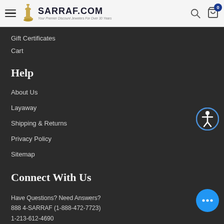SARRAF.COM — Your Premier Discount Jewelers For Over 30 Years
Gift Certificates
Cart
Help
About Us
Layaway
Shipping & Returns
Privacy Policy
Sitemap
Connect With Us
Have Questions? Need Answers?
888 4-SARRAF (1-888-472-7723)
1-213-612-4690
Monday - Friday 10:00 AM to 5:00 PM
[Figure (other): Accessibility icon button — circle with person/human figure]
[Figure (other): Chat bubble button with three dots (live chat)]